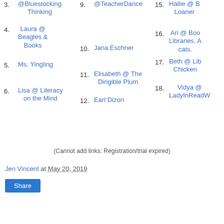3. @Bluestocking Thinking
4. Laura @ Beagles & Books
5. Ms. Yingling
6. Lisa @ Literacy on the Mind
9. @TeacherDance
10. Jana Eschner
11. Elisabeth @ The Dirigible Plum
12. Earl Dizon
15. Hallie @ B Loaner
16. Ari @ Boo Libraries. A cats.
17. Beth @ Lib Chicken
18. Vidya @ LadyInReadW
(Cannot add links: Registration/trial expired)
Jen Vincent at May 20, 2019